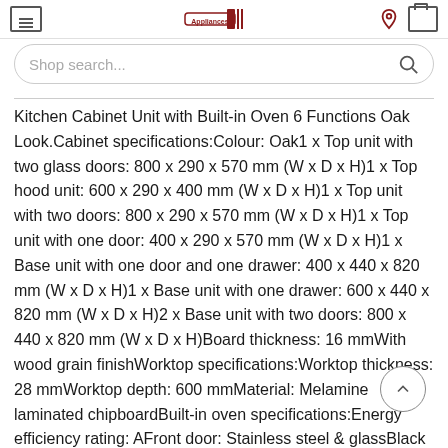Shop search...
Kitchen Cabinet Unit with Built-in Oven 6 Functions Oak Look.Cabinet specifications:Colour: Oak1 x Top unit with two glass doors: 800 x 290 x 570 mm (W x D x H)1 x Top hood unit: 600 x 290 x 400 mm (W x D x H)1 x Top unit with two doors: 800 x 290 x 570 mm (W x D x H)1 x Top unit with one door: 400 x 290 x 570 mm (W x D x H)1 x Base unit with one door and one drawer: 400 x 440 x 820 mm (W x D x H)1 x Base unit with one drawer: 600 x 440 x 820 mm (W x D x H)2 x Base unit with two doors: 800 x 440 x 820 mm (W x D x H)Board thickness: 16 mmWith wood grain finishWorktop specifications:Worktop thickness: 28 mmWorktop depth: 600 mmMaterial: Melamine laminated chipboardBuilt-in oven specifications:Energy efficiency rating: AFront door: Stainless steel & glassBlack easy-to-clean enamelled interiorLarge cavity: 70 litreRated power: 3000 WVoltage: 220 – 240